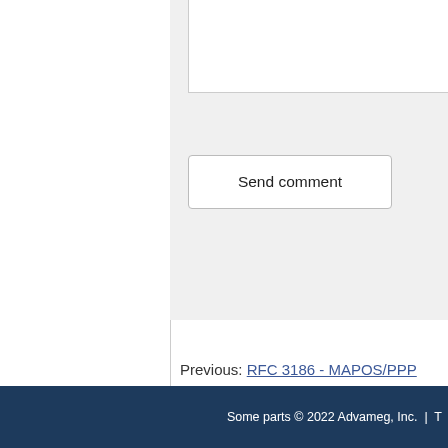Send comment
Previous: RFC 3186 - MAPOS/PPP Tunneling mode
[ RFC Index | Usenet FAQs | We...
Some parts © 2022 Advameg, Inc. | T...